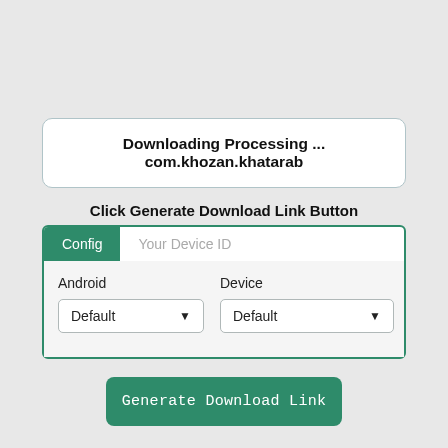Downloading Processing ... com.khozan.khatarab
Click Generate Download Link Button
Config
Your Device ID
Android
Default
Device
Default
Generate Download Link